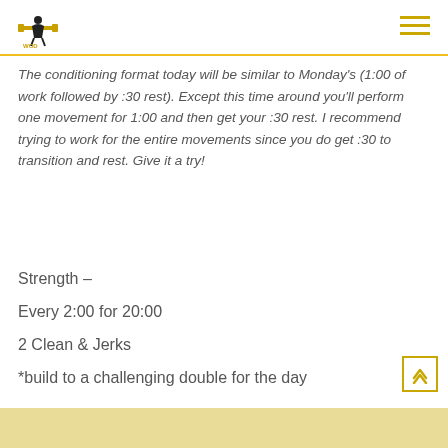Logo and navigation
The conditioning format today will be similar to Monday's (1:00 of work followed by :30 rest). Except this time around you'll perform one movement for 1:00 and then get your :30 rest. I recommend trying to work for the entire movements since you do get :30 to transition and rest. Give it a try!
Strength –
Every 2:00 for 20:00
2 Clean & Jerks
*build to a challenging double for the day